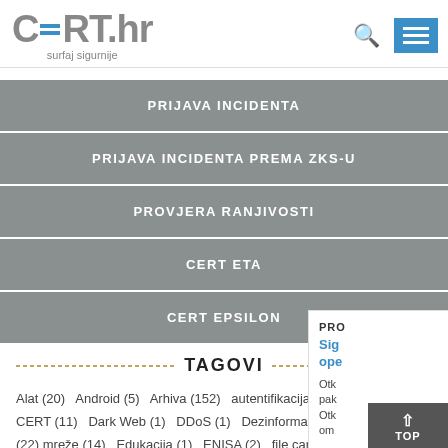CERT.hr - surfaj sigurnije
PRIJAVA INCIDENTA
PRIJAVA INCIDENTA PREMA ZKS-u
PROVJERA RANJIVOSTI
CERT ETA
CERT EPSILON
TAGOVI
Alat (20) Android (5) Arhiva (152) autentifikacija (1) botnet (2) CERT (11) Dark Web (1) DDoS (1) Dezinformacije (1) Dokument (22) mreže (14) Edukacija (1) ENISA (2) file carving (1) Forenzika (2)